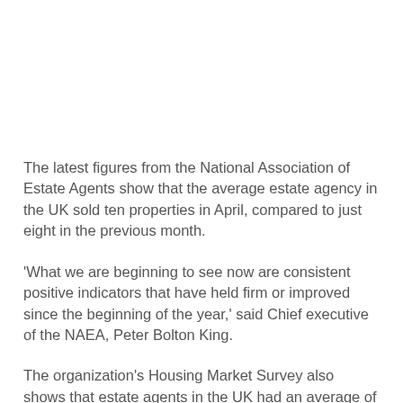The latest figures from the National Association of Estate Agents show that the average estate agency in the UK sold ten properties in April, compared to just eight in the previous month.
'What we are beginning to see now are consistent positive indicators that have held firm or improved since the beginning of the year,' said Chief executive of the NAEA, Peter Bolton King.
The organization's Housing Market Survey also shows that estate agents in the UK had an average of 265 people registered with them in April, slightly down on March's figure but high in comparison to the previous 12 months.
The number of first-time buyers held firm at 23%, the same level seen in March. The average number of properties available for sale increased from an average of 67 in March